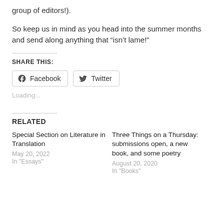group of editors!).
So keep us in mind as you head into the summer months and send along anything that “isn’t lame!”
SHARE THIS:
Facebook
Twitter
Loading...
RELATED
Special Section on Literature in Translation
May 20, 2022
In "Essays"
Three Things on a Thursday: submissions open, a new book, and some poetry
August 20, 2020
In "Books"